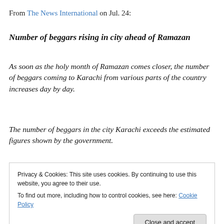From The News International on Jul. 24:
Number of beggars rising in city ahead of Ramazan
As soon as the holy month of Ramazan comes closer, the number of beggars coming to Karachi from various parts of the country increases day by day.
The number of beggars in the city Karachi exceeds the estimated figures shown by the government.
“The number of beggars is much higher than what the
Privacy & Cookies: This site uses cookies. By continuing to use this website, you agree to their use.
To find out more, including how to control cookies, see here: Cookie Policy
Close and accept